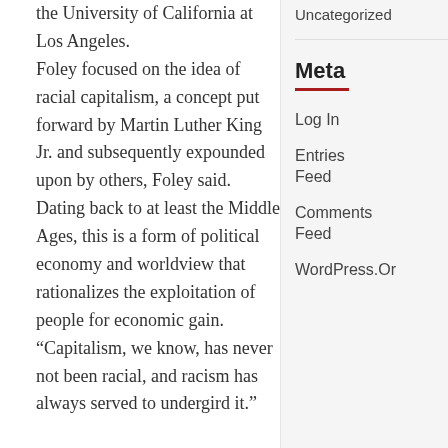the University of California at Los Angeles.
Foley focused on the idea of racial capitalism, a concept put forward by Martin Luther King Jr. and subsequently expounded upon by others, Foley said. Dating back to at least the Middle Ages, this is a form of political economy and worldview that rationalizes the exploitation of people for economic gain. “Capitalism, we know, has never not been racial, and racism has always served to undergird it."
Uncategorized
Meta
Log In
Entries Feed
Comments Feed
WordPress.Org